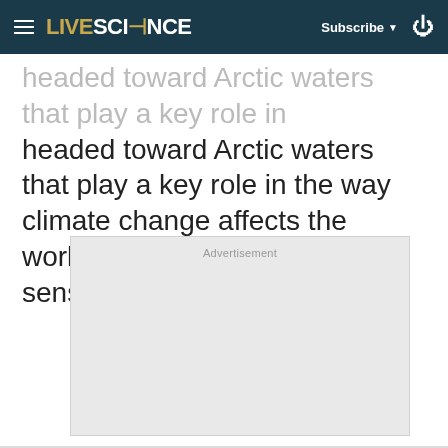LIVESCIENCE | Subscribe | Search
headed toward Arctic waters that play a key role in the way climate change affects the world's oceans, in particular sensitive far north regions.
[Figure (other): Advertisement placeholder box with light gray background and 'Advertisement' label]